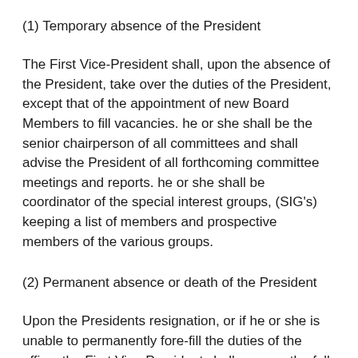(1) Temporary absence of the President
The First Vice-President shall, upon the absence of the President, take over the duties of the President, except that of the appointment of new Board Members to fill vacancies. he or she shall be the senior chairperson of all committees and shall advise the President of all forthcoming committee meetings and reports. he or she shall be coordinator of the special interest groups, (SIG's) keeping a list of members and prospective members of the various groups.
(2) Permanent absence or death of the President
Upon the Presidents resignation, or if he or she is unable to permanently fore-fill the duties of the office, the First Vice-President shall assume the full powers of the President and finnish the term remaining. (See Article XII A).